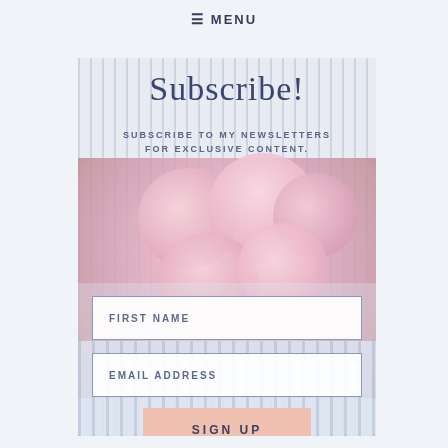≡ MENU
[Figure (photo): Newsletter subscription card with pink roses background and striped fabric, person holding a striped blue and white box]
Subscribe!
SUBSCRIBE TO MY NEWSLETTERS FOR EXCLUSIVE CONTENT.
FIRST NAME
EMAIL ADDRESS
SIGN UP